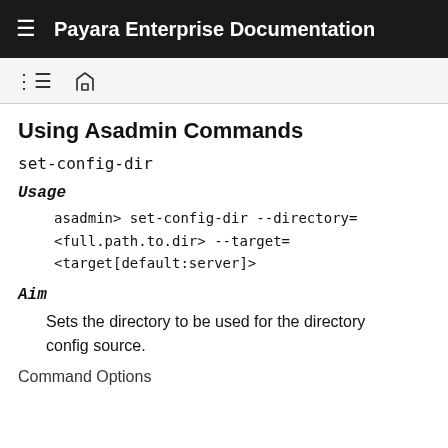Payara Enterprise Documentation
Using Asadmin Commands
set-config-dir
Usage
asadmin> set-config-dir --directory=
<full.path.to.dir> --target=
<target[default:server]>
Aim
Sets the directory to be used for the directory config source.
Command Options